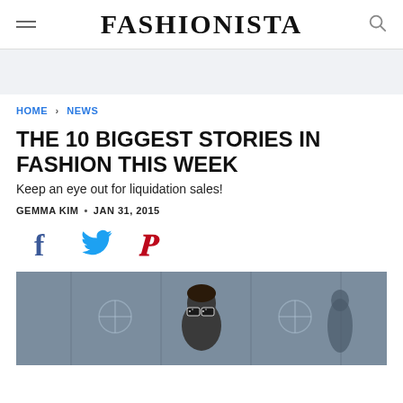FASHIONISTA
HOME > NEWS
THE 10 BIGGEST STORIES IN FASHION THIS WEEK
Keep an eye out for liquidation sales!
GEMMA KIM • JAN 31, 2015
[Figure (photo): Person wearing large sunglasses, photographed outdoors in front of a glass building]
[Figure (other): Social sharing icons: Facebook, Twitter, Pinterest]